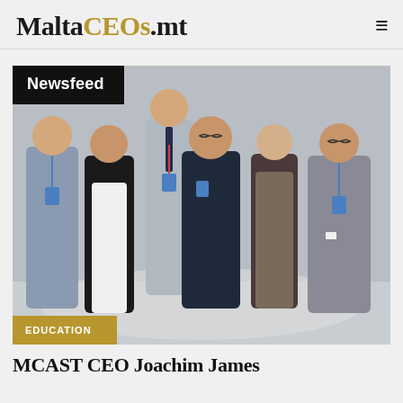MaltaCEOs.mt
[Figure (photo): Group photo of six people standing together at a conference or event, wearing blue lanyards/badges. A 'Newsfeed' label appears in the top-left corner and an 'EDUCATION' label appears at the bottom-left of the image.]
MCAST CEO Joachim James